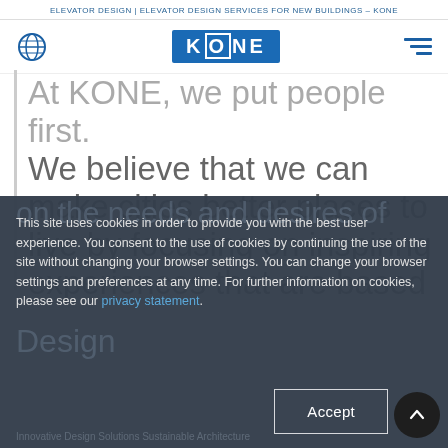ELEVATOR DESIGN | ELEVATOR DESIGN SERVICES FOR NEW BUILDINGS – KONE
[Figure (logo): KONE logo with globe icon and hamburger menu navigation bar]
At KONE, we put people first. We believe that we can make cities better places to live by focusing on inspiring experiences that are based
This site uses cookies in order to provide you with the best user experience. You consent to the use of cookies by continuing the use of the site without changing your browser settings. You can change your browser settings and preferences at any time. For further information on cookies, please see our privacy statement.
Accept